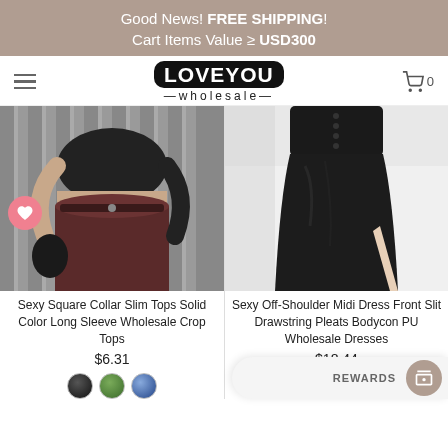Good News! FREE SHIPPING!
Cart Items Value ≥ USD300
[Figure (logo): LOVEYOU wholesale logo — black rounded rectangle with white text LOVEYOU, and '—wholesale—' below]
[Figure (photo): Left product: woman wearing black crop top and dark red jeans. Heart/wishlist button overlay. Product: Sexy Square Collar Slim Tops Solid Color Long Sleeve Wholesale Crop Tops. Price: $6.31. Color swatches: dark, green, blue.]
Sexy Square Collar Slim Tops Solid Color Long Sleeve Wholesale Crop Tops
$6.31
[Figure (photo): Right product: black PU leather midi skirt with front slit on white background. Product: Sexy Off-Shoulder Midi Dress Front Slit Drawstring Pleats Bodycon PU Wholesale Dresses. Price: $18.44.]
Sexy Off-Shoulder Midi Dress Front Slit Drawstring Pleats Bodycon PU Wholesale Dresses
$18.44
REWARDS